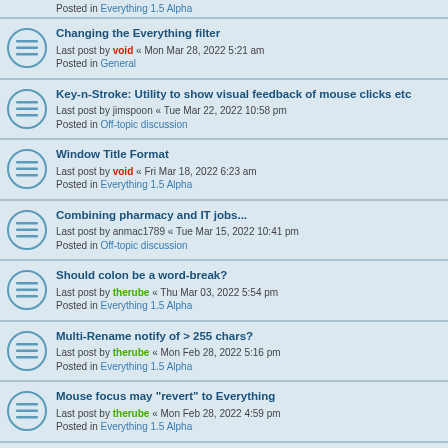Posted in Everything 1.5 Alpha
Changing the Everything filter
Last post by void « Mon Mar 28, 2022 5:21 am
Posted in General
Key-n-Stroke: Utility to show visual feedback of mouse clicks etc
Last post by jimspoon « Tue Mar 22, 2022 10:58 pm
Posted in Off-topic discussion
Window Title Format
Last post by void « Fri Mar 18, 2022 6:23 am
Posted in Everything 1.5 Alpha
Combining pharmacy and IT jobs...
Last post by anmac1789 « Tue Mar 15, 2022 10:41 pm
Posted in Off-topic discussion
Should colon be a word-break?
Last post by therube « Thu Mar 03, 2022 5:54 pm
Posted in Everything 1.5 Alpha
Multi-Rename notify of > 255 chars?
Last post by therube « Mon Feb 28, 2022 5:16 pm
Posted in Everything 1.5 Alpha
Mouse focus may "revert" to Everything
Last post by therube « Mon Feb 28, 2022 4:59 pm
Posted in Everything 1.5 Alpha
How to find broken lnk files
Last post by void « Tue Feb 22, 2022 7:29 am
Posted in Everything 1.5 Alpha